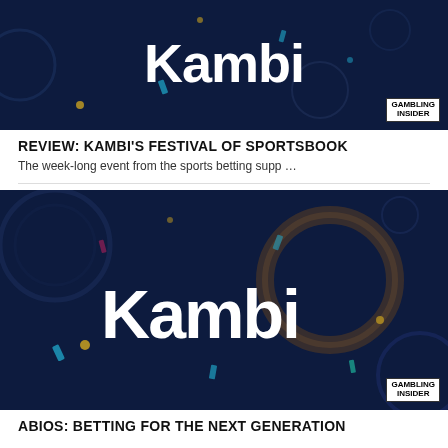[Figure (photo): Kambi branded dark blue banner image with decorative confetti and geometric shapes, Gambling Insider badge in bottom right corner]
REVIEW: KAMBI'S FESTIVAL OF SPORTSBOOK
The week-long event from the sports betting supp …
[Figure (photo): Kambi logo on dark navy blue background with decorative circles and confetti elements, Gambling Insider badge in bottom right corner]
ABIOS: BETTING FOR THE NEXT GENERATION